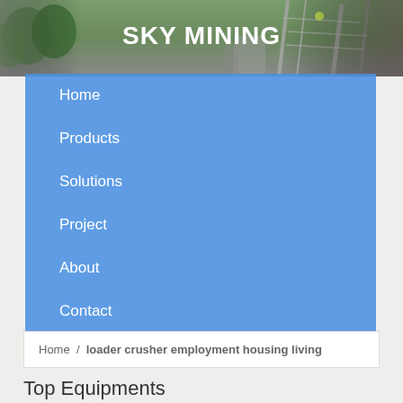[Figure (photo): Mining site industrial equipment photo background with green trees and metal structures]
SKY MINING
Home
Products
Solutions
Project
About
Contact
Home / loader crusher employment housing living
Top Equipments
[Figure (photo): Mining equipment photo left]
[Figure (photo): Mining equipment photo right]